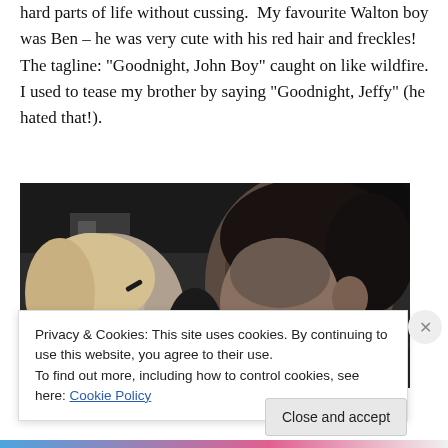hard parts of life without cussing.  My favourite Walton boy was Ben – he was very cute with his red hair and freckles! The tagline: “Goodnight, John Boy” caught on like wildfire. I used to tease my brother by saying “Goodnight, Jeffy” (he hated that!).
[Figure (photo): Black and white close-up photograph of two young people, a blonde girl with a hair clip and a dark-haired boy, facing each other closely.]
Privacy & Cookies: This site uses cookies. By continuing to use this website, you agree to their use.
To find out more, including how to control cookies, see here: Cookie Policy
Close and accept